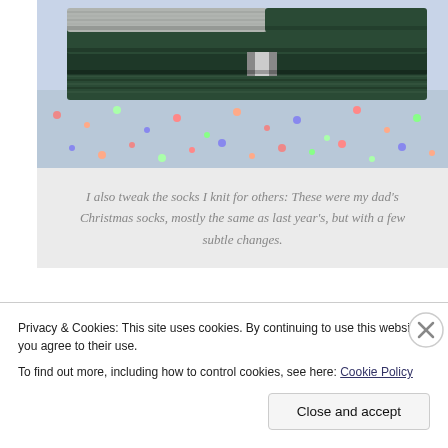[Figure (photo): Stacked knitted socks in dark green and grey, placed on a floral patterned fabric surface. The socks show ribbed texture at the top.]
I also tweak the socks I knit for others: These were my dad's Christmas socks, mostly the same as last year's, but with a few subtle changes.
Some tweaks are built into a pattern: You can decide for yourself (usually) how much ribbing you want at the top of the leg, how long you want the leg to be, how long you like your heel flap (and how to
Privacy & Cookies: This site uses cookies. By continuing to use this website, you agree to their use.
To find out more, including how to control cookies, see here: Cookie Policy